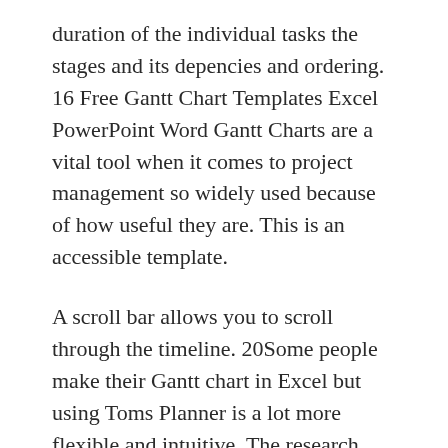duration of the individual tasks the stages and its depencies and ordering. 16 Free Gantt Chart Templates Excel PowerPoint Word Gantt Charts are a vital tool when it comes to project management so widely used because of how useful they are. This is an accessible template.
A scroll bar allows you to scroll through the timeline. 20Some people make their Gantt chart in Excel but using Toms Planner is a lot more flexible and intuitive. The research project template has a weekly view of the projects timeline from start to proposed end date.